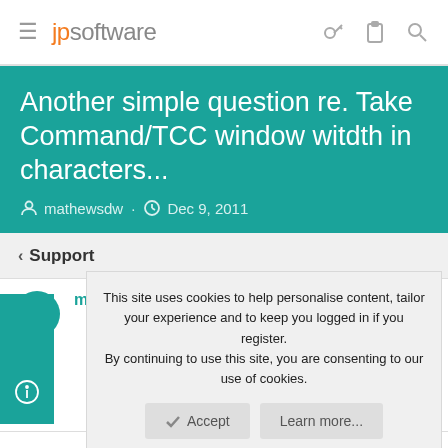jpsoftware
Another simple question re. Take Command/TCC window witdth in characters...
mathewsdw · Dec 9, 2011
< Support
mathewsdw
This site uses cookies to help personalise content, tailor your experience and to keep you logged in if you register.
By continuing to use this site, you are consenting to our use of cookies.